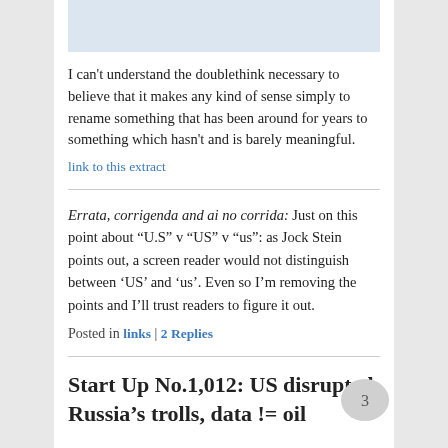[Figure (other): Light blue rectangular image placeholder at top]
I can't understand the doublethink necessary to believe that it makes any kind of sense simply to rename something that has been around for years to something which hasn't and is barely meaningful.
link to this extract
Errata, corrigenda and ai no corrida: Just on this point about "U.S" v "US" v "us": as Jock Stein points out, a screen reader would not distinguish between 'US' and 'us'. Even so I'm removing the points and I'll trust readers to figure it out.
Posted in links | 2 Replies
Start Up No.1,012: US disrupted Russia's trolls, data != oil